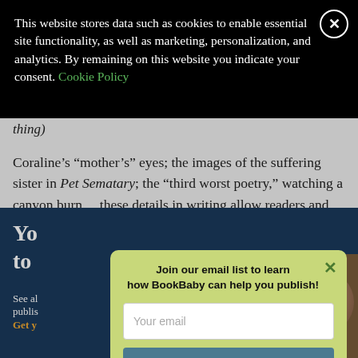This website stores data such as cookies to enable essential site functionality, as well as marketing, personalization, and analytics. By remaining on this website you indicate your consent. Cookie Policy
thing)
Coraline's “mother’s” eyes; the images of the suffering sister in Pet Sematary; the “third worst poetry,” watching a canyon burn... these details in writing allow readers and audiences to connect with the emotions you’re trying to convey.
[Figure (screenshot): Dark blue promotional banner for BookBaby publishing services, partially visible behind popup, showing partial text 'Yo' and 'to' in large white bold font, with small text 'See al' 'publis' and 'Get y' in gold. A book cover image is partially visible on the right.]
Join our email list to learn how BookBaby can help you publish!
Your email
Sign Me Up